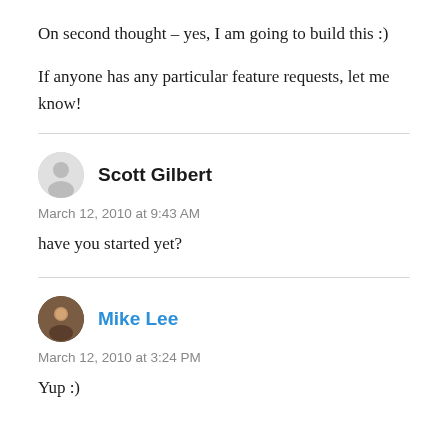On second thought – yes, I am going to build this :)
If anyone has any particular feature requests, let me know!
Scott Gilbert
March 12, 2010 at 9:43 AM
have you started yet?
Mike Lee
March 12, 2010 at 3:24 PM
Yup :)